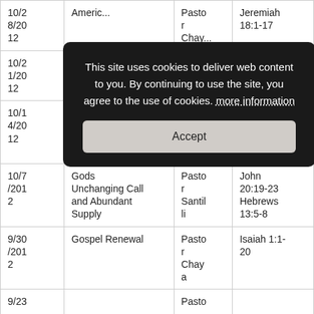| Date | Title | Speaker | Scripture |
| --- | --- | --- | --- |
| 10/28/2012 | America... | Pastor Chay... | Jeremiah 18:1-17 |
| 10/21/2012 | God's World Our Nation... | Pastor... | Jeremiah 3:6-18 |
| 10/14/2012 | The Bruised Reed | Pastor OToole | Isaiah 42:1-9 |
| 10/7/2012 | Gods Unchanging Call and Abundant Supply | Pastor Santilli | John 20:19-23 Hebrews 13:5-8 |
| 9/30/2012 | Gospel Renewal | Pastor Chaya | Isaiah 1:1-20 |
| 9/23... | ... | Pasto... | ... |
This site uses cookies to deliver web content to you. By continuing to use the site, you agree to the use of cookies. more information [Accept]